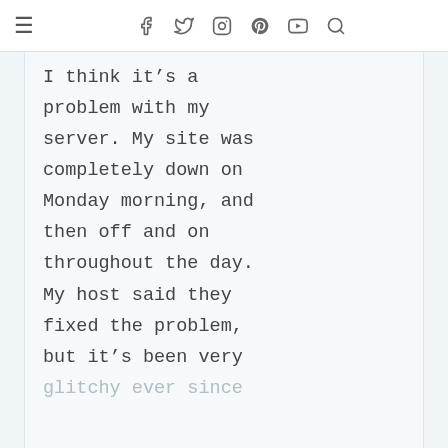≡  f  t  (instagram)  (pinterest)  (youtube)  (search)
I think it's a problem with my server. My site was completely down on Monday morning, and then off and on throughout the day. My host said they fixed the problem, but it's been very glitchy ever since